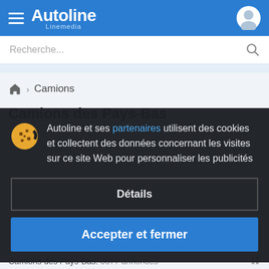Autoline Linemedia
Recherche...
🏠 > Camions
Camions des Pays-Bas
Autoline et ses partenaires utilisent des cookies et collectent des données concernant les visites sur ce site Web pour personnaliser les publicités
Détails
Accepter et fermer
Camions des Pays-Bas: 3677 annonces